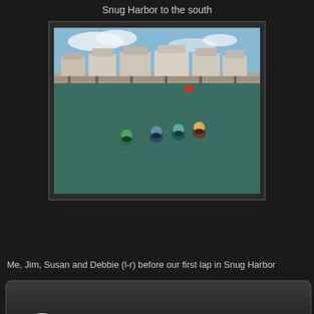Snug Harbor to the south
[Figure (photo): Four swimmers with colorful swim caps in open water, with a coastal neighborhood of houses visible on the far shore and a red buoy in the water. Blue sky above.]
Me, Jim, Susan and Debbie (l-r) before our first lap in Snug Harbor
Neil Farmer
Yacht Club at Stone Harbor OWS
Jul 10, 2013 • Open Water Swimming